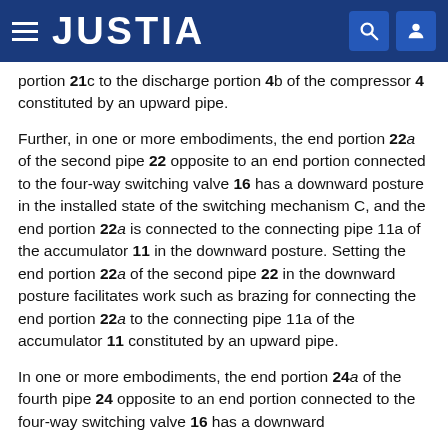JUSTIA
portion 21c to the discharge portion 4b of the compressor 4 constituted by an upward pipe.
Further, in one or more embodiments, the end portion 22a of the second pipe 22 opposite to an end portion connected to the four-way switching valve 16 has a downward posture in the installed state of the switching mechanism C, and the end portion 22a is connected to the connecting pipe 11a of the accumulator 11 in the downward posture. Setting the end portion 22a of the second pipe 22 in the downward posture facilitates work such as brazing for connecting the end portion 22a to the connecting pipe 11a of the accumulator 11 constituted by an upward pipe.
In one or more embodiments, the end portion 24a of the fourth pipe 24 opposite to an end portion connected to the four-way switching valve 16 has a downward